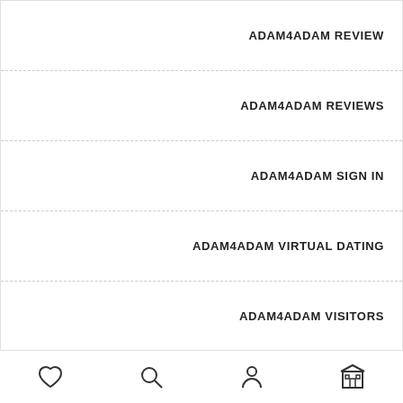ADAM4ADAM REVIEW
ADAM4ADAM REVIEWS
ADAM4ADAM SIGN IN
ADAM4ADAM VIRTUAL DATING
ADAM4ADAM VISITORS
ADAM4ADAM WHO IS KOURTNEY KARDASHIAN DATING
ADULT DATING 100 GRATIS
ADULT DATING SERVICE
Navigation bar with icons: heart, search, person, building